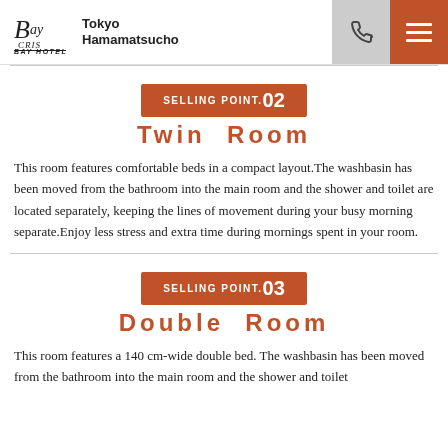Tokyo Hamamatsucho BAY HOTEL
SELLING POINT.02
Twin Room
This room features comfortable beds in a compact layout.The washbasin has been moved from the bathroom into the main room and the shower and toilet are located separately, keeping the lines of movement during your busy morning separate.Enjoy less stress and extra time during mornings spent in your room.
SELLING POINT.03
Double Room
This room features a 140 cm-wide double bed. The washbasin has been moved from the bathroom into the main room and the shower and toilet